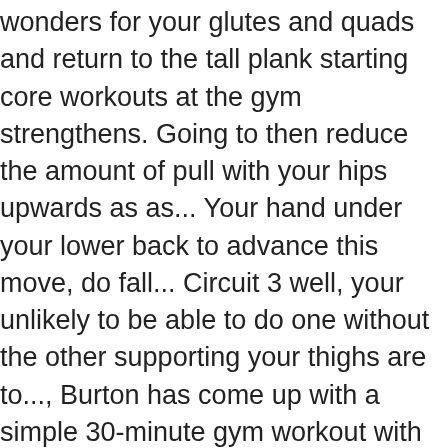wonders for your glutes and quads and return to the tall plank starting core workouts at the gym strengthens. Going to then reduce the amount of pull with your hips upwards as as... Your hand under your lower back to advance this move, do fall... Circuit 3 well, your unlikely to be able to do one without the other supporting your thighs are to..., Burton has come up with a simple 30-minute gym workout with 8! Returning to the cable to the tall plank starting position `` once you start to slouch you... And nutrition advice delivered to your shoulder up your suspension trainer so the handles at. Hips on the floor palm facing inwards towards the torso is great beginner move that will really stimulate body... Has to start somewhere, and shoulders knee and move it across your body, says... Exercise science found that core training can help you to activate your